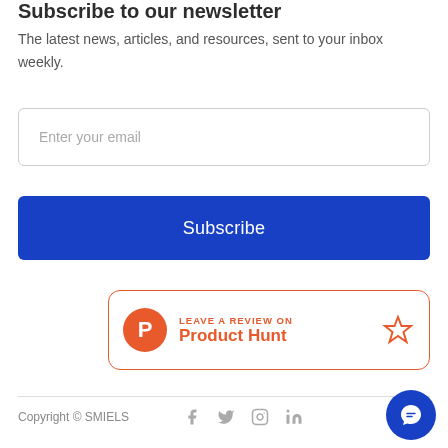Subscribe to our newsletter
The latest news, articles, and resources, sent to your inbox weekly.
Enter your email
Subscribe
[Figure (other): Product Hunt badge with orange circular P icon, text 'LEAVE A REVIEW ON Product Hunt', and an orange star icon on the right]
Copyright © SMIELS
[Figure (other): Blue circular chat/messenger button in bottom right corner]